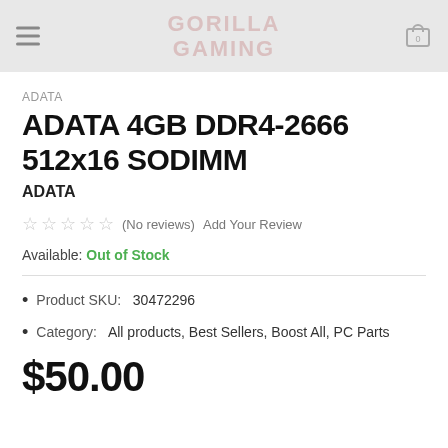GORILLA GAMING
ADATA
ADATA 4GB DDR4-2666 512x16 SODIMM
ADATA
☆☆☆☆☆ (No reviews) Add Your Review
Available: Out of Stock
Product SKU: 30472296
Category: All products, Best Sellers, Boost All, PC Parts
$50.00